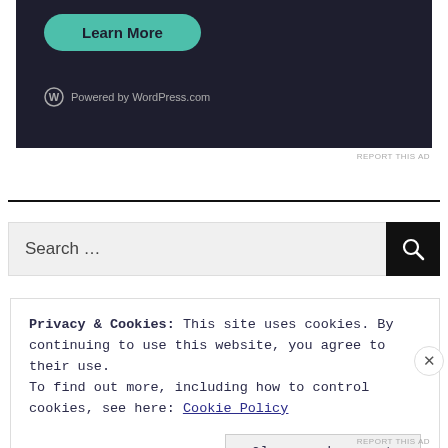[Figure (screenshot): Dark-themed advertisement banner with a teal rounded 'Learn More' button and WordPress.com powered logo at the bottom left.]
REPORT THIS AD
[Figure (screenshot): Search bar with light grey input field reading 'Search ...' and a black search icon button on the right.]
Privacy & Cookies: This site uses cookies. By continuing to use this website, you agree to their use.
To find out more, including how to control cookies, see here: Cookie Policy
Close and accept
REPORT THIS AD